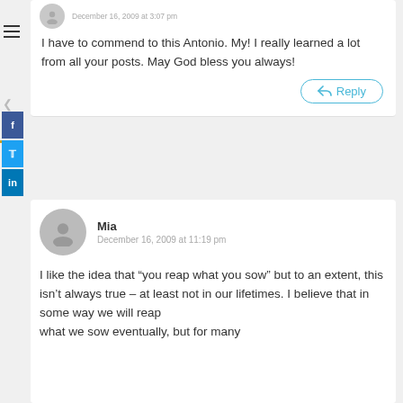December 16, 2009 at 3:07 pm
I have to commend to this Antonio. My! I really learned a lot from all your posts. May God bless you always!
Reply
Mia
December 16, 2009 at 11:19 pm
I like the idea that “you reap what you sow” but to an extent, this isn’t always true – at least not in our lifetimes. I believe that in some way we will reap what we sow eventually, but for many